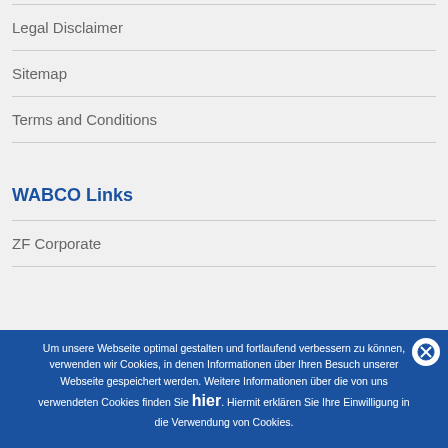Legal Disclaimer
Sitemap
Terms and Conditions
WABCO Links
ZF Corporate
Um unsere Webseite optimal gestalten und fortlaufend verbessern zu können, verwenden wir Cookies, in denen Informationen über Ihren Besuch unserer Webseite gespeichert werden. Weitere Informationen über die von uns verwendeten Cookies finden Sie hier. Hiermit erklären Sie Ihre Einwilligung in die Verwendung von Cookies.